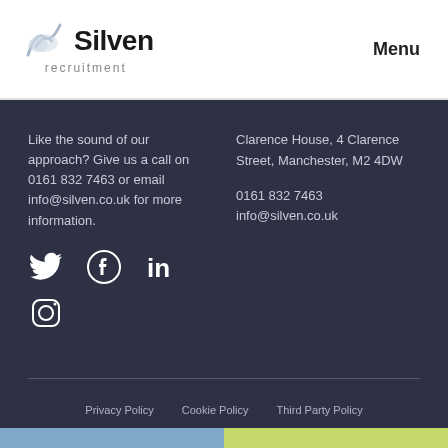[Figure (logo): Silven recruitment logo with mountain/cloud icon above the text 'Silven' and 'recruitment' below]
Menu
Like the sound of our approach? Give us a call on 0161 832 7463 or email info@silven.co.uk for more information.
Clarence House, 4 Clarence Street, Manchester, M2 4DW

0161 832 7463
info@silven.co.uk
[Figure (illustration): Social media icons: Twitter bird, Facebook, LinkedIn, and Instagram]
Privacy Policy   Cookie Policy   Third Party Policy
Clients
Candidates